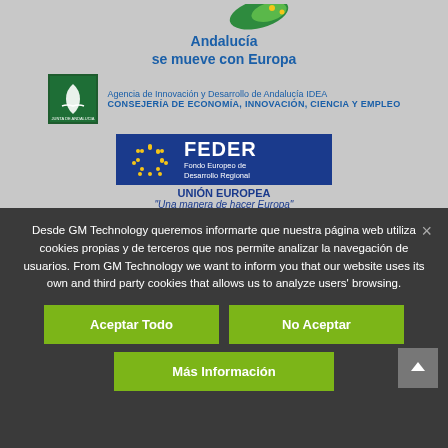[Figure (logo): Andalucía se mueve con Europa logo with green and white flag design and blue text]
[Figure (logo): Junta de Andalucía - Agencia de Innovación y Desarrollo de Andalucía IDEA, Consejería de Economía, Innovación, Ciencia y Empleo logo]
[Figure (logo): FEDER - Fondo Europeo de Desarrollo Regional, Unión Europea logo with EU stars flag]
Desde GM Technology queremos informarte que nuestra página web utiliza cookies propias y de terceros que nos permite analizar la navegación de usuarios. From GM Technology we want to inform you that our website uses its own and third party cookies that allows us to analyze users' browsing.